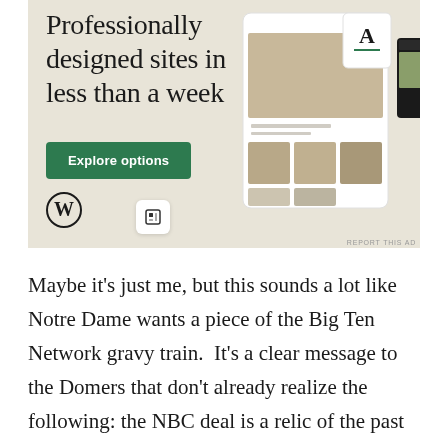[Figure (screenshot): WordPress advertisement banner with beige/cream background. Large serif text reads 'Professionally designed sites in less than a week'. A green button labeled 'Explore options' appears below. WordPress logo (W in circle) bottom left. Screenshots of website designs shown on the right side. Small icon bottom center. 'REPORT THIS AD' text bottom right.]
Maybe it's just me, but this sounds a lot like Notre Dame wants a piece of the Big Ten Network gravy train.  It's a clear message to the Domers that don't already realize the following: the NBC deal is a relic of the past while controlling your own content like the Big Ten Network is the future.  At the very least, the quotes coming out of Notre Dame are hinting at something